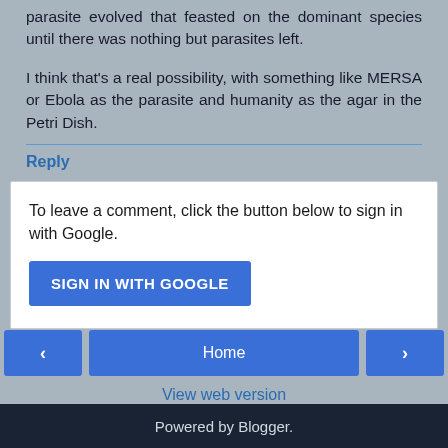parasite evolved that feasted on the dominant species until there was nothing but parasites left.
I think that's a real possibility, with something like MERSA or Ebola as the parasite and humanity as the agar in the Petri Dish.
Reply
To leave a comment, click the button below to sign in with Google.
SIGN IN WITH GOOGLE
Home
View web version
Powered by Blogger.